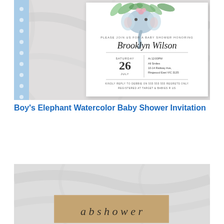[Figure (photo): Baby shower invitation photo mockup showing a white invitation card with watercolor elephant illustration at top, script text 'Brooklyn Wilson', event details Saturday July 26 at 12:00PM at All Smiles, 10-14 Railway Ave, Ringwood East VIC 3135, placed on marble background with blue polka dot ribbon on the left side.]
Boy's Elephant Watercolor Baby Shower Invitation
[Figure (photo): Partial photo mockup showing marble background with a kraft paper card at the bottom, partially visible with script lettering.]